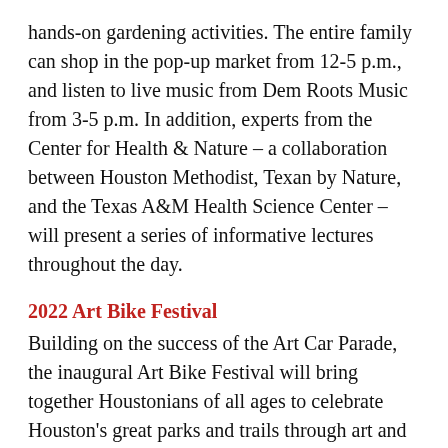hands-on gardening activities. The entire family can shop in the pop-up market from 12-5 p.m., and listen to live music from Dem Roots Music from 3-5 p.m. In addition, experts from the Center for Health & Nature – a collaboration between Houston Methodist, Texan by Nature, and the Texas A&M Health Science Center – will present a series of informative lectures throughout the day.
2022 Art Bike Festival
Building on the success of the Art Car Parade, the inaugural Art Bike Festival will bring together Houstonians of all ages to celebrate Houston's great parks and trails through art and creativity. The celebration kicks off this Saturday at 9 a.m. in MacGregor Park. The parade will roll at 10 a.m. with participants joining a parade of art bikes created by students from more than 100 HISD schools to...